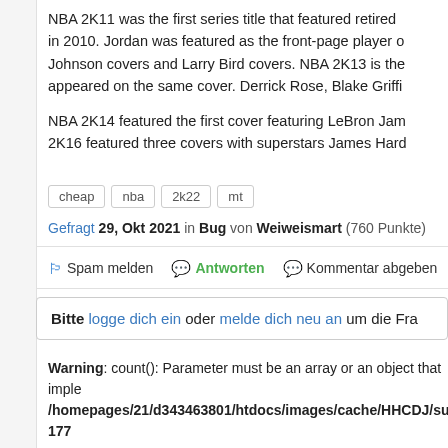NBA 2K11 was the first series title that featured retired players in 2010. Jordan was featured as the front-page player on Magic Johnson covers and Larry Bird covers. NBA 2K13 is the first time two players appeared on the same cover. Derrick Rose, Blake Griffi...
NBA 2K14 featured the first cover featuring LeBron James. NBA 2K16 featured three covers with superstars James Haro...
cheap
nba
2k22
mt
Gefragt 29, Okt 2021 in Bug von Weiweismart (760 Punkte)
Spam melden   Antworten   Kommentar abgeben
Bitte logge dich ein oder melde dich neu an um die Fra...
Warning: count(): Parameter must be an array or an object that imple... /homepages/21/d343463801/htdocs/images/cache/HHCDJ/suppo... 177